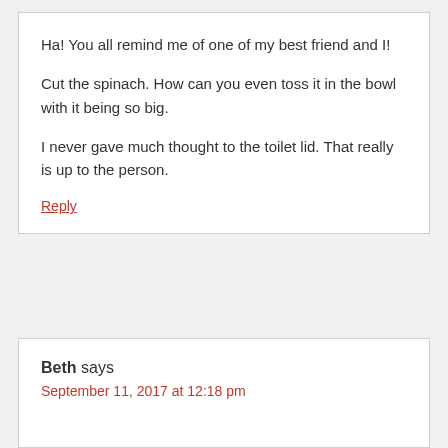Ha! You all remind me of one of my best friend and I!
Cut the spinach. How can you even toss it in the bowl with it being so big.
I never gave much thought to the toilet lid. That really is up to the person.
Reply
Beth says
September 11, 2017 at 12:18 pm